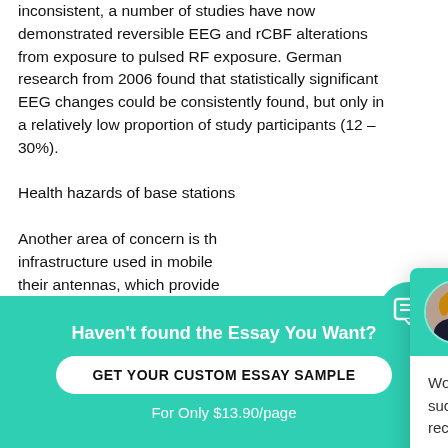inconsistent, a number of studies have now demonstrated reversible EEG and rCBF alterations from exposure to pulsed RF exposure. German research from 2006 found that statistically significant EEG changes could be consistently found, but only in a relatively low proportion of study participants (12 – 30%).
Health hazards of base stations
Another area of concern is the infrastructure used in mobile their antennas, which provide This is because, in contrast to continuously and is more pow hand, field intensities drop rap base of the antenna because square of distance. Because b watts, the radiation at ground
[Figure (screenshot): Chat popup widget with teal header showing avatar of woman named Petra, greeting 'Hi! I'm Petra', body text 'Would you like to get such a paper? How about receiving a customized one?' and 'Check it out' link]
[Figure (screenshot): Teal circular chat icon button with message bubble icon]
Haven't found the Essay You Want?
GET YOUR CUSTOM ESSAY SAMPLE
For Only $13.90/page